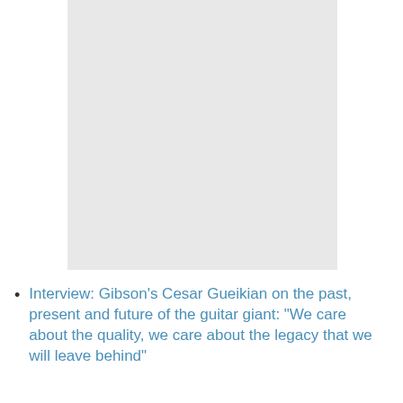[Figure (photo): A large light gray rectangular image placeholder occupying the upper portion of the page.]
Interview: Gibson's Cesar Gueikian on the past, present and future of the guitar giant: "We care about the quality, we care about the legacy that we will leave behind"